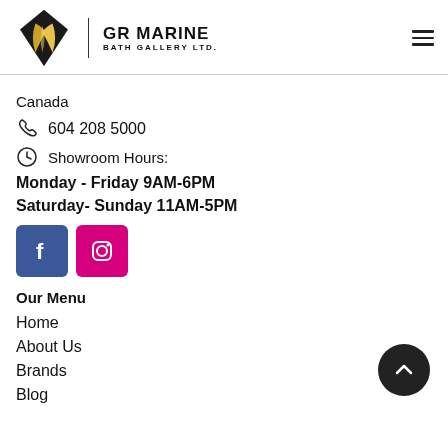[Figure (logo): GR Marine Bath Gallery Ltd. logo — black diamond shape with gold leaf design, company name in bold black text]
Canada
604 208 5000
Showroom Hours:
Monday - Friday 9AM-6PM
Saturday- Sunday 11AM-5PM
[Figure (illustration): Facebook icon button (blue square with white f) and Instagram icon button (pink/magenta square with camera icon)]
Our Menu
Home
About Us
Brands
Blog